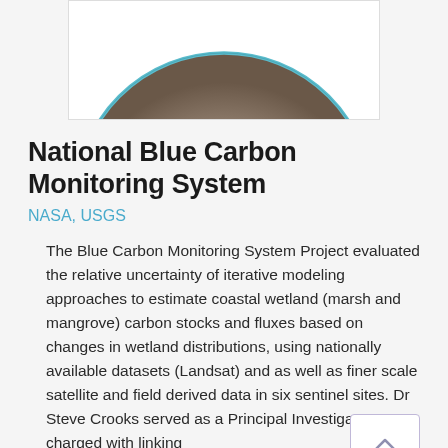[Figure (illustration): Partial circle/oval shape visible at top of page, appears to be a globe or spherical object with teal/blue outline and brown/gray gradient fill, cropped to show only the upper portion]
National Blue Carbon Monitoring System
NASA, USGS
The Blue Carbon Monitoring System Project evaluated the relative uncertainty of iterative modeling approaches to estimate coastal wetland (marsh and mangrove) carbon stocks and fluxes based on changes in wetland distributions, using nationally available datasets (Landsat) and as well as finer scale satellite and field derived data in six sentinel sites. Dr Steve Crooks served as a Principal Investigator charged with linking